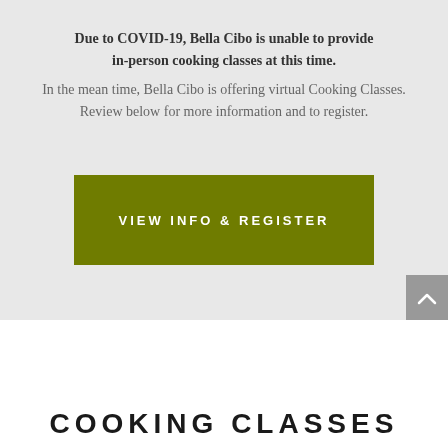Due to COVID-19, Bella Cibo is unable to provide in-person cooking classes at this time. In the mean time, Bella Cibo is offering virtual Cooking Classes. Review below for more information and to register.
[Figure (other): Olive green rectangular button with white uppercase text reading 'VIEW INFO & REGISTER']
COOKING CLASSES